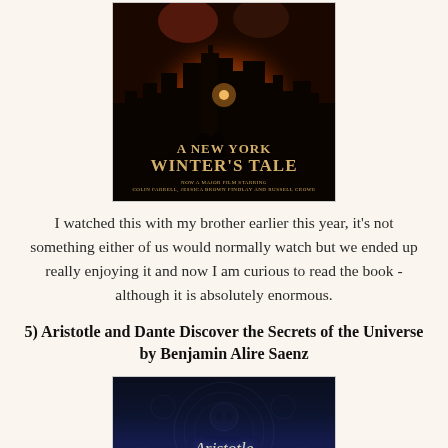[Figure (photo): Book cover of 'A New York Winter's Tale' - dark romantic movie tie-in cover with couple silhouetted against golden city skyline, subtitle 'Now a major film starring Colin Farrell, Jessica Brown Findlay and Russell Crowe']
I watched this with my brother earlier this year, it's not something either of us would normally watch but we ended up really enjoying it and now I am curious to read the book - although it is absolutely enormous.
5) Aristotle and Dante Discover the Secrets of the Universe by Benjamin Alire Saenz
[Figure (photo): Book cover of 'Aristotle and Dante Discover the Secrets of the Universe' by Benjamin Alire Saenz - dark cover with ornate patterns and large stylized text 'Aristotle and Dante']